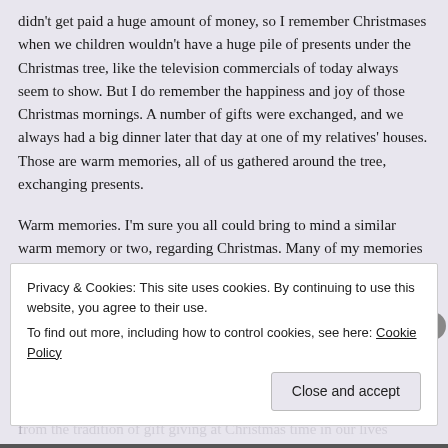didn't get paid a huge amount of money, so I remember Christmases when we children wouldn't have a huge pile of presents under the Christmas tree, like the television commercials of today always seem to show. But I do remember the happiness and joy of those Christmas mornings. A number of gifts were exchanged, and we always had a big dinner later that day at one of my relatives' houses. Those are warm memories, all of us gathered around the tree, exchanging presents.
Warm memories. I'm sure you all could bring to mind a similar warm memory or two, regarding Christmas. Many of my memories do involve gifts. The Scripture passage we just read mentions gifts, too. It's from Matthew, Chapter 2, the traditional Epiphany story, when Wise Men from the East came to see the baby Jesus, bearing gifts.
[partially obscured text]
Privacy & Cookies: This site uses cookies. By continuing to use this website, you agree to their use.
To find out more, including how to control cookies, see here: Cookie Policy